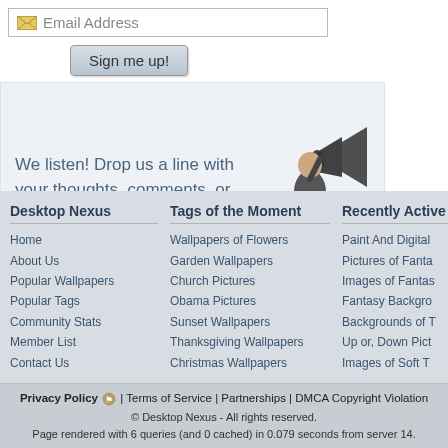Email Address
Sign me up!
We listen! Drop us a line with your thoughts, comments, or feedback!
Support This Site
Desktop Nexus
Home
About Us
Popular Wallpapers
Popular Tags
Community Stats
Member List
Contact Us
Tags of the Moment
Wallpapers of Flowers
Garden Wallpapers
Church Pictures
Obama Pictures
Sunset Wallpapers
Thanksgiving Wallpapers
Christmas Wallpapers
Recently Active
Paint And Digital
Pictures of Fanta
Images of Fantas
Fantasy Backgro
Backgrounds of T
Up or, Down Pict
Images of Soft T
Privacy Policy | Terms of Service | Partnerships | DMCA Copyright Violation
© Desktop Nexus - All rights reserved.
Page rendered with 6 queries (and 0 cached) in 0.079 seconds from server 14.